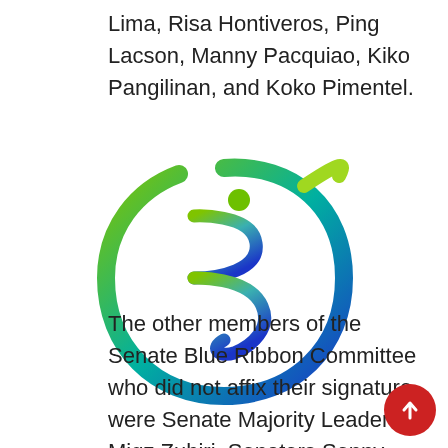Lima, Risa Hontiveros, Ping Lacson, Manny Pacquiao, Kiko Pangilinan, and Koko Pimentel.
[Figure (logo): Senate Blue Ribbon Committee logo — a stylized letter combining 'B' and 'R' in blue and green gradient colors, encircled by a swooping arc.]
The other members of the Senate Blue Ribbon Committee who did not affix their signature were Senate Majority Leader Migz Zubiri, Senators Sonny Angara, Pia Cayetano, Sherwin Gatchalian, Bong Go, Lito Lapid, Imee Marcos, Grace Poe,